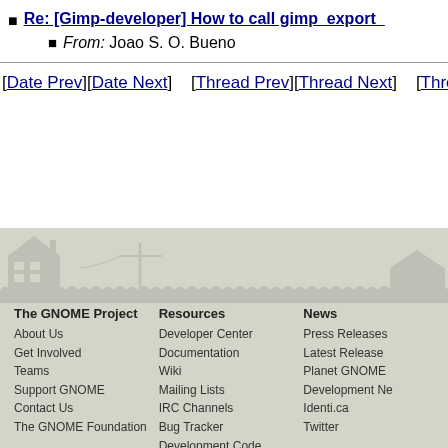Re: [Gimp-developer] How to call gimp_export_...
From: Joao S. O. Bueno
[Date Prev][Date Next]   [Thread Prev][Thread Next]   [Thread In...
[Figure (illustration): GNOME website footer background with house and grass silhouette landscape in light grey]
The GNOME Project
About Us
Get Involved
Teams
Support GNOME
Contact Us
The GNOME Foundation
Resources
Developer Center
Documentation
Wiki
Mailing Lists
IRC Channels
Bug Tracker
Development Code
Build Tool
News
Press Releases
Latest Release
Planet GNOME
Development Ne...
Identi.ca
Twitter